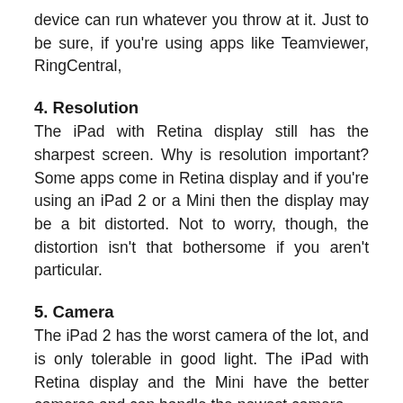device can run whatever you throw at it. Just to be sure, if you're using apps like Teamviewer, RingCentral,
4. Resolution
The iPad with Retina display still has the sharpest screen. Why is resolution important? Some apps come in Retina display and if you're using an iPad 2 or a Mini then the display may be a bit distorted. Not to worry, though, the distortion isn't that bothersome if you aren't particular.
5. Camera
The iPad 2 has the worst camera of the lot, and is only tolerable in good light. The iPad with Retina display and the Mini have the better cameras and can handle the newest camera